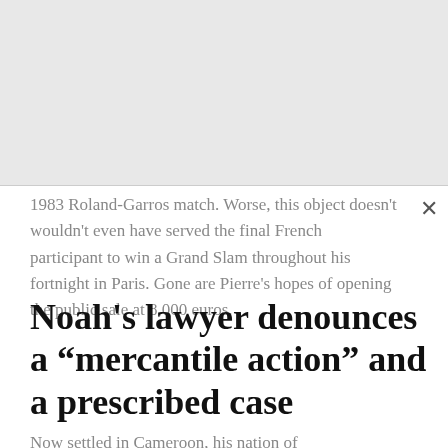1983 Roland-Garros match. Worse, this object doesn't wouldn't even have served the final French participant to win a Grand Slam throughout his fortnight in Paris. Gone are Pierre's hopes of opening the public sale at 8,000 euros.
Noah's lawyer denounces a “mercantile action” and a prescribed case
Now settled in Cameroon, his nation of